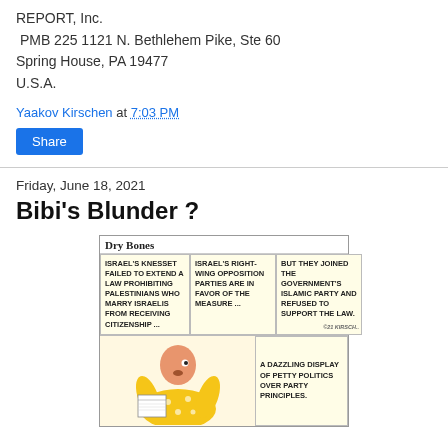REPORT, Inc.
 PMB 225 1121 N. Bethlehem Pike, Ste 60
Spring House, PA 19477
U.S.A.
Yaakov Kirschen at 7:03 PM
Share
Friday, June 18, 2021
Bibi's Blunder ?
[Figure (illustration): Dry Bones political cartoon. Header reads 'Dry Bones'. Top row has three caption boxes: 'ISRAEL'S KNESSET FAILED TO EXTEND A LAW PROHIBITING PALESTINIANS WHO MARRY ISRAELIS FROM RECEIVING CITIZENSHIP ...', 'ISRAEL'S RIGHT-WING OPPOSITION PARTIES ARE IN FAVOR OF THE MEASURE ...', 'BUT THEY JOINED THE GOVERNMENT'S ISLAMIC PARTY AND REFUSED TO SUPPORT THE LAW.' Bottom row shows a cartoon character in yellow pajamas with flowers reading a newspaper, with a caption box reading 'A DAZZLING DISPLAY OF PETTY POLITICS OVER PARTY PRINCIPLES.']